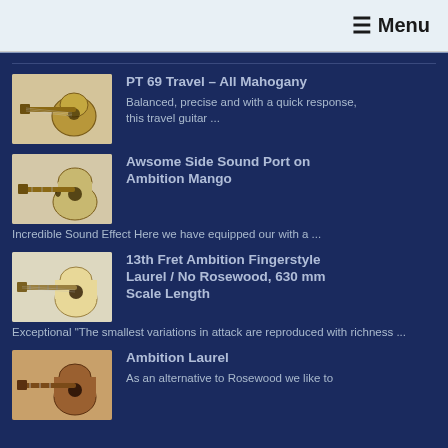☰ Menu
PT 69 Travel – All Mahogany
Balanced, precise and with a quick response, this travel guitar ...
Awsome Side Sound Port on Ambition Mango
Incredible Sound Effect Here we have equipped our with a ...
13th Fret Ambition Fingerstyle Laurel / No Rosewood, 630 mm Scale Length
Exceptional "The smallest variations in attack are reproduced with richness ...
Ambition Laurel
As an alternative to Rosewood we like to